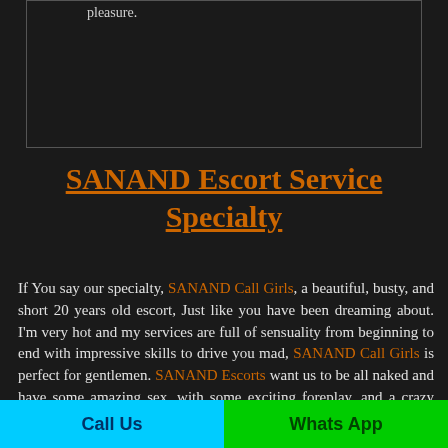pleasure.
SANAND Escort Service Specialty
If You say our specialty, SANAND Call Girls, a beautiful, busty, and short 20 years old escort, Just like you have been dreaming about. I'm very hot and my services are full of sensuality from beginning to end with impressive skills to drive you mad, SANAND Call Girls is perfect for gentlemen. SANAND Escorts want us to be all naked and have some amazing sex, with some exciting foreplay, and a crazy blowjob to make you feel up in the sky, then you can fuck our Beautiful Call Girls as you want. SANAND Escorts do
Call Us | Whats App